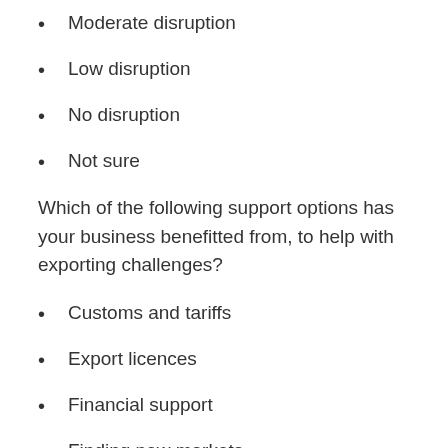Moderate disruption
Low disruption
No disruption
Not sure
Which of the following support options has your business benefitted from, to help with exporting challenges?
Customs and tariffs
Export licences
Financial support
Finding new markets